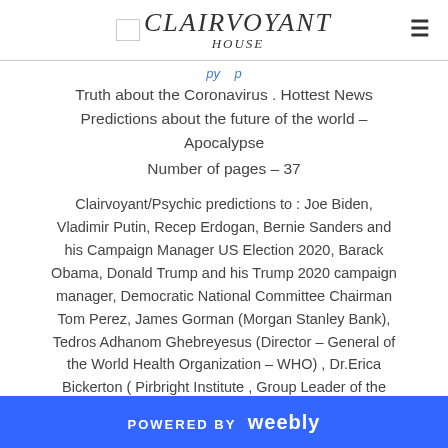CLAIRVOYANT HOUSE
Truth about the Coronavirus . Hottest News Predictions about the future of the world – Apocalypse
Number of pages – 37
Clairvoyant/Psychic predictions to : Joe Biden, Vladimir Putin, Recep Erdogan, Bernie Sanders and his Campaign Manager US Election 2020, Barack Obama, Donald Trump and his Trump 2020 campaign manager, Democratic National Committee Chairman Tom Perez, James Gorman (Morgan Stanley Bank), Tedros Adhanom Ghebreyesus (Director – General of the World Health Organization – WHO) , Dr.Erica Bickerton ( Pirbright Institute , Group Leader of the
POWERED BY weebly